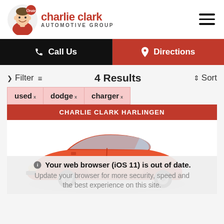[Figure (logo): Charlie Clark Automotive Group logo with person's face and brand name in red]
Call Us
Directions
Filter   4 Results   Sort
used × dodge × charger ×
CHARLIE CLARK HARLINGEN
[Figure (photo): Red Dodge Charger car photo]
Your web browser (iOS 11) is out of date. Update your browser for more security, speed and the best experience on this site.